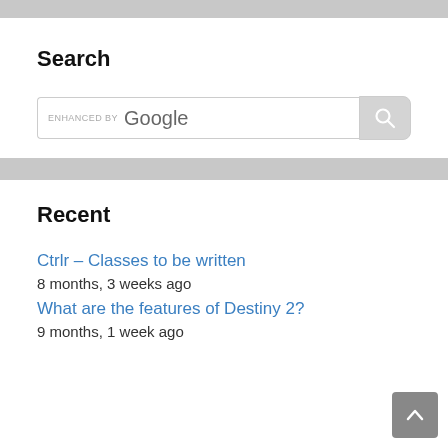Search
[Figure (screenshot): Google search bar with 'ENHANCED BY Google' label and a search button with magnifying glass icon]
Recent
Ctrlr – Classes to be written
8 months, 3 weeks ago
What are the features of Destiny 2?
9 months, 1 week ago